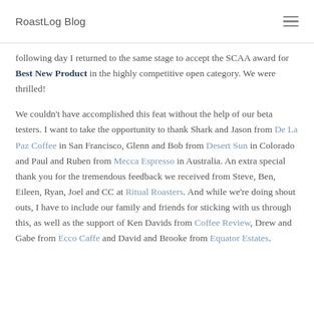RoastLog Blog
following day I returned to the same stage to accept the SCAA award for Best New Product in the highly competitive open category. We were thrilled!
We couldn't have accomplished this feat without the help of our beta testers. I want to take the opportunity to thank Shark and Jason from De La Paz Coffee in San Francisco, Glenn and Bob from Desert Sun in Colorado and Paul and Ruben from Mecca Espresso in Australia. An extra special thank you for the tremendous feedback we received from Steve, Ben, Eileen, Ryan, Joel and CC at Ritual Roasters. And while we're doing shout outs, I have to include our family and friends for sticking with us through this, as well as the support of Ken Davids from Coffee Review, Drew and Gabe from Ecco Caffe and David and Brooke from Equator Estates.